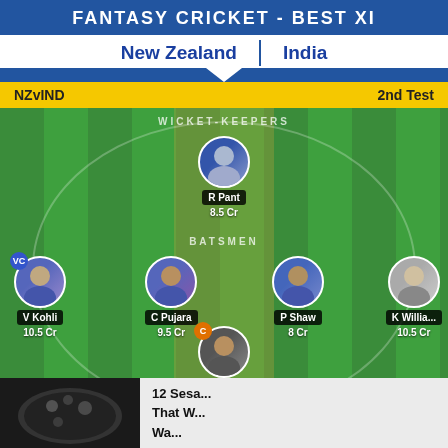FANTASY CRICKET - BEST XI
New Zealand | India
NZvIND  2nd Test
[Figure (infographic): Fantasy cricket best XI pitch infographic showing player positions on a cricket field. Wicket-keeper: R Pant 8.5 Cr. Batsmen: V Kohli (VC) 10.5 Cr, C Pujara 9.5 Cr, P Shaw 8 Cr, K Willia... 10.5 Cr. All-rounders section visible at bottom. Captain: R Taylor 9.5 Cr.]
12 Sesa... That W... Wa...